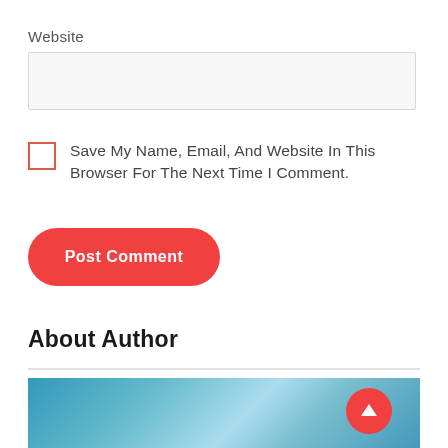Website
Save My Name, Email, And Website In This Browser For The Next Time I Comment.
Post Comment
About Author
[Figure (photo): Blue water/ocean texture image at bottom of page with a red scroll-up arrow button overlay]